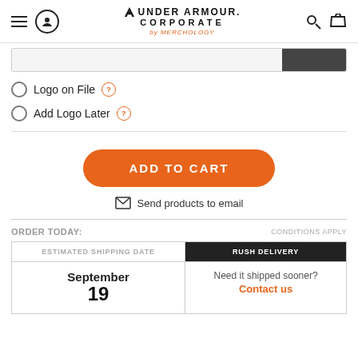Under Armour Corporate by Merchology
Logo on File
Add Logo Later
ADD TO CART
Send products to email
ORDER TODAY:
CONDITIONS APPLY
| ESTIMATED SHIPPING DATE | RUSH DELIVERY |
| --- | --- |
| September
19 | Need it shipped sooner?
Contact us |